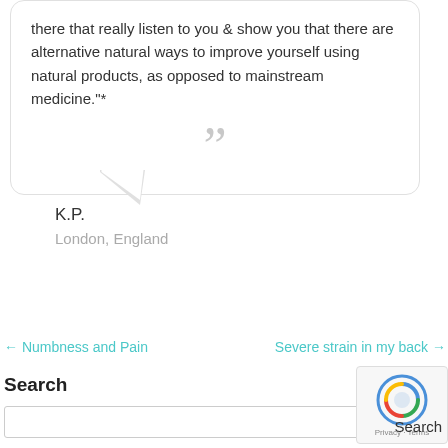there that really listen to you & show you that there are alternative natural ways to improve yourself using natural products, as opposed to mainstream medicine."*
K.P.
London, England
← Numbness and Pain
Severe strain in my back →
Search